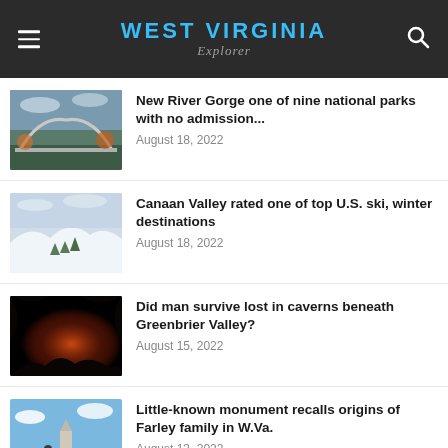WEST VIRGINIA Explorer
New River Gorge one of nine national parks with no admission... — August 18, 2022
Canaan Valley rated one of top U.S. ski, winter destinations — August 18, 2022
Did man survive lost in caverns beneath Greenbrier Valley? — August 15, 2022
Little-known monument recalls origins of Farley family in W.Va. — August 13, 2022
New River Gorge…